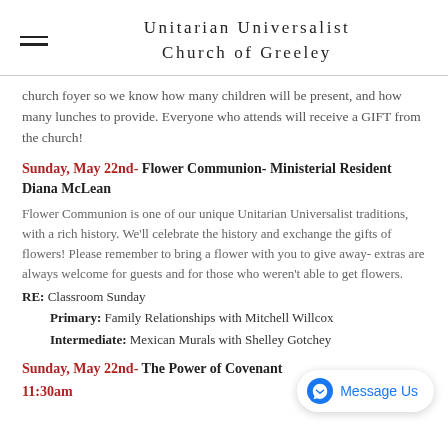Unitarian Universalist Church of Greeley
church foyer so we know how many children will be present, and how many lunches to provide. Everyone who attends will receive a GIFT from the church!
Sunday, May 22nd- Flower Communion- Ministerial Resident Diana McLean
Flower Communion is one of our unique Unitarian Universalist traditions, with a rich history. We'll celebrate the history and exchange the gifts of flowers! Please remember to bring a flower with you to give away- extras are always welcome for guests and for those who weren't able to get flowers.
RE: Classroom Sunday
Primary: Family Relationships with Mitchell Willcox
Intermediate: Mexican Murals with Shelley Gotchey
Sunday, May 22nd- The Power of Covenant  11:30am